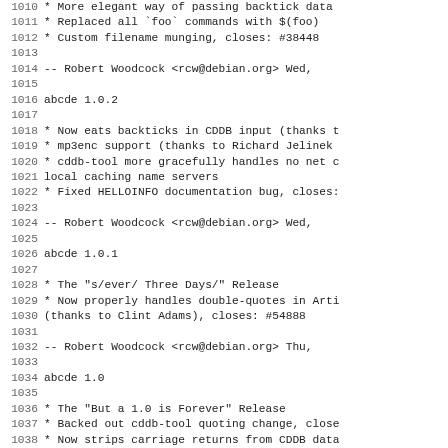1010  * More elegant way of passing backtick data
1011  * Replaced all `foo` commands with $(foo)
1012  * Custom filename munging, closes: #38448
1013
1014     -- Robert Woodcock <rcw@debian.org>  Wed,
1015
1016 abcde 1.0.2
1017
1018  * Now eats backticks in CDDB input (thanks t
1019  * mp3enc support (thanks to Richard Jelinek
1020  * cddb-tool more gracefully handles no net c
1021    local caching name servers
1022  * Fixed HELLOINFO documentation bug, closes:
1023
1024     -- Robert Woodcock <rcw@debian.org>  Wed,
1025
1026 abcde 1.0.1
1027
1028  * The "s/ever/ Three Days/" Release
1029  * Now properly handles double-quotes in Arti
1030    (thanks to Clint Adams), closes: #54888
1031
1032     -- Robert Woodcock <rcw@debian.org>  Thu,
1033
1034 abcde 1.0
1035
1036  * The "But a 1.0 is Forever" Release
1037  * Backed out cddb-tool quoting change, close
1038  * Now strips carriage returns from CDDB data
1039  * Added ID3COMMENT config option
1040
1041     -- Robert Woodcock <rcw@debian.org>  Mon,
1042